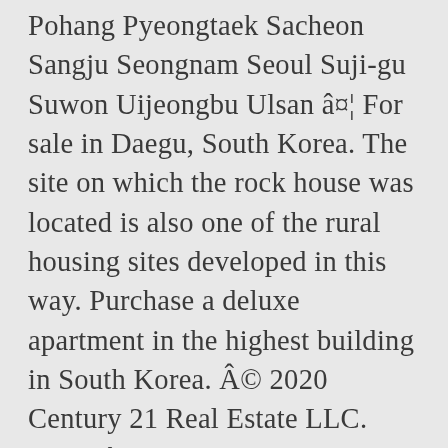Pohang Pyeongtaek Sacheon Sangju Seongnam Seoul Suji-gu Suwon Uijeongbu Ulsan â¤¦ For sale in Daegu, South Korea. The site on which the rock house was located is also one of the rural housing sites developed in this way. Purchase a deluxe apartment in the highest building in South Korea. © 2020 Century 21 Real Estate LLC. Price: â©©4.7 billion. By clicking Send, I agree a C21 Agent may contact me by phone or text message including by automated means about real estate services, and that I can access real estate services without providing my phone number. PropGOLuxury offers the greatest selection of South Korea luxury homes for sale and South Korea luxury homes for rent